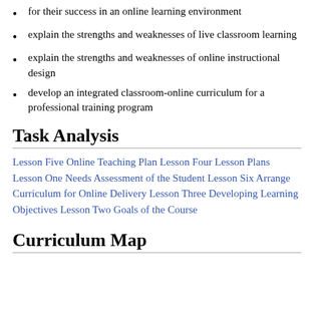for their success in an online learning environment
explain the strengths and weaknesses of live classroom learning
explain the strengths and weaknesses of online instructional design
develop an integrated classroom-online curriculum for a professional training program
Task Analysis
Lesson Five Online Teaching Plan Lesson Four Lesson Plans Lesson One Needs Assessment of the Student Lesson Six Arrange Curriculum for Online Delivery Lesson Three Developing Learning Objectives Lesson Two Goals of the Course
Curriculum Map